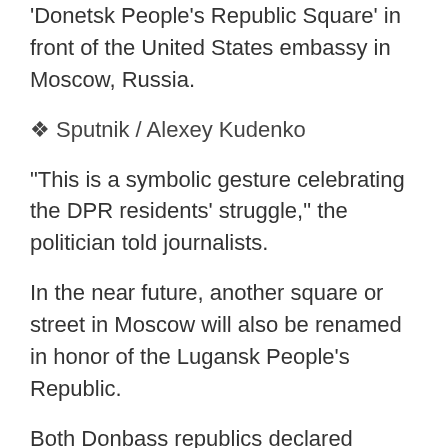'Donetsk People's Republic Square' in front of the United States embassy in Moscow, Russia.
❖ Sputnik / Alexey Kudenko
"This is a symbolic gesture celebrating the DPR residents' struggle," the politician told journalists.
In the near future, another square or street in Moscow will also be renamed in honor of the Lugansk People's Republic.
Both Donbass republics declared independence back in 2014 following the Maidan coup in Kiev. These two